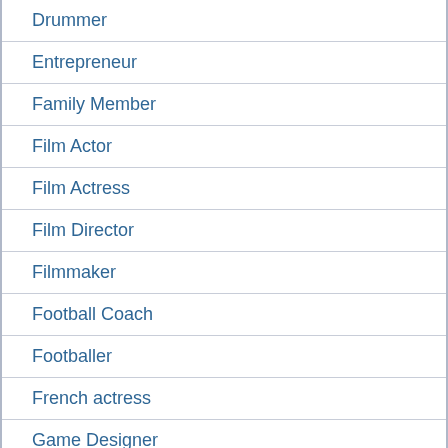Drummer
Entrepreneur
Family Member
Film Actor
Film Actress
Film Director
Filmmaker
Football Coach
Footballer
French actress
Game Designer
Guitarist
Hockey Player
Instagram Star
Irish Actor